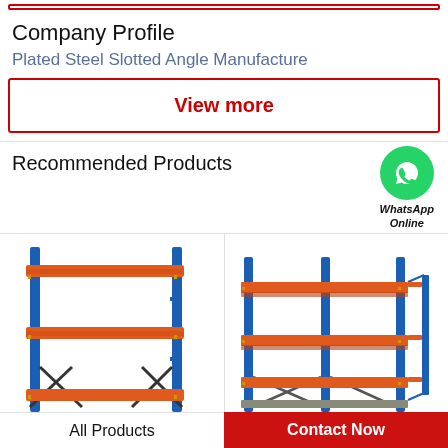Company Profile
Plated Steel Slotted Angle Manufacture
View more
Recommended Products
[Figure (photo): Blue and orange steel shelving rack, 3-tier, white background]
[Figure (photo): Blue and orange steel shelving rack, 3-tier, wider model with solid shelves]
[Figure (logo): WhatsApp green circle logo with phone icon, labeled WhatsApp Online]
All Products
Contact Now